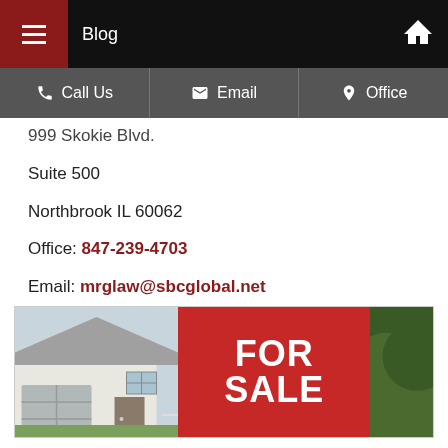Blog
Call Us  |  Email  |  Office
999 Skokie Blvd.
Suite 500
Northbrook IL 60062
Office: 847-239-4703
Email: mrglaw@sbcglobal.net
Website: www.illinois-defenseattorney.com
Text: 773-383-8745
[Figure (photo): Photo of a house with a FOR SALE sign in the foreground on the right side]